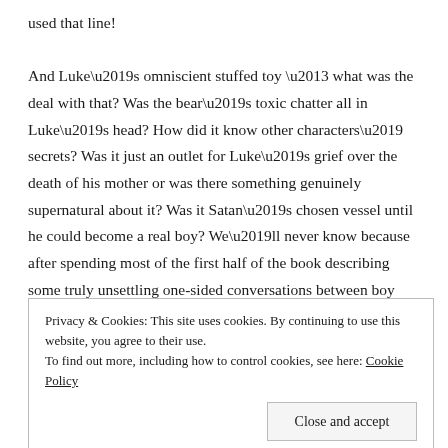used that line!
And Luke’s omniscient stuffed toy – what was the deal with that? Was the bear’s toxic chatter all in Luke’s head? How did it know other characters’ secrets? Was it just an outlet for Luke’s grief over the death of his mother or was there something genuinely supernatural about it? Was it Satan’s chosen vessel until he could become a real boy? We’ll never know because after spending most of the first half of the book describing some truly unsettling one-sided conversations between boy and bear, whose words are only ever relayed to Luke in a whisper (like an evil episode of Sooty &
Privacy & Cookies: This site uses cookies. By continuing to use this website, you agree to their use.
To find out more, including how to control cookies, see here: Cookie Policy
Close and accept
over that village? There are more suspicious and nasty deaths in